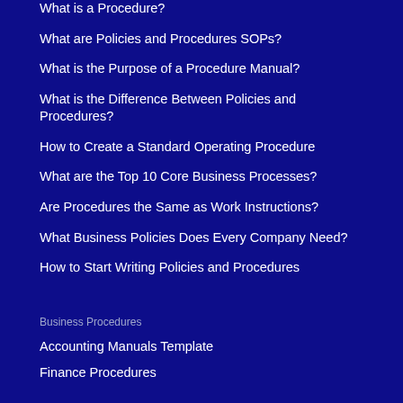What is a Procedure?
What are Policies and Procedures SOPs?
What is the Purpose of a Procedure Manual?
What is the Difference Between Policies and Procedures?
How to Create a Standard Operating Procedure
What are the Top 10 Core Business Processes?
Are Procedures the Same as Work Instructions?
What Business Policies Does Every Company Need?
How to Start Writing Policies and Procedures
Business Procedures
Accounting Manuals Template
Finance Procedures